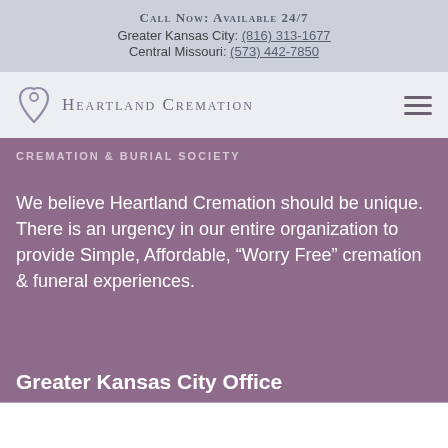Call Now: Available 24/7
Greater Kansas City: (816) 313-1677
Central Missouri: (573) 442-7850
[Figure (logo): Heartland Cremation logo with heart drop icon and text]
CREMATION & BURIAL SOCIETY
We believe Heartland Cremation should be unique. There is an urgency in our entire organization to provide Simple, Affordable, “Worry Free” cremation & funeral experiences.
Greater Kansas City Office